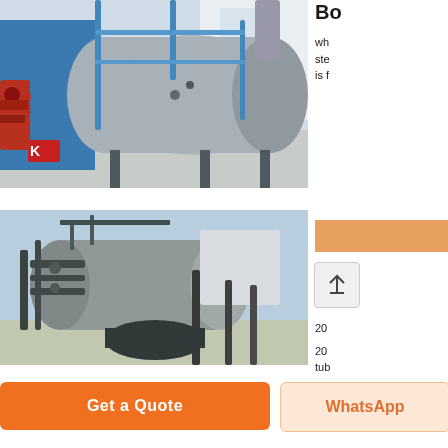[Figure (photo): Industrial fire-tube steam boiler in blue casing with burner assembly and piping, indoors on white floor]
Bo
wh
ste
is f
[Figure (other): Orange rectangle/bar element]
[Figure (other): Scroll-to-top button with upward arrow icon]
20
[Figure (photo): Outdoor industrial boiler or pressure vessel system with pipes and black smokestacks against blue sky]
20
tub
Get a Quote
WhatsApp